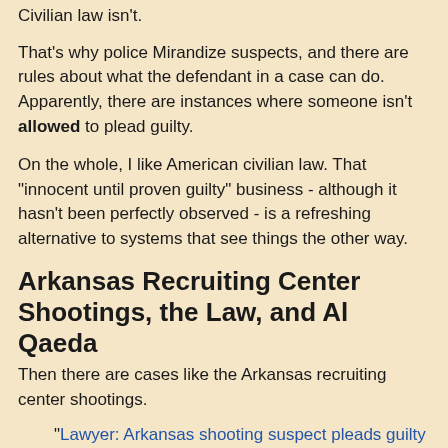Civilian law isn't.
That's why police Mirandize suspects, and there are rules about what the defendant in a case can do. Apparently, there are instances where someone isn't allowed to plead guilty.
On the whole, I like American civilian law. That "innocent until proven guilty" business - although it hasn't been perfectly observed - is a refreshing alternative to systems that see things the other way.
Arkansas Recruiting Center Shootings, the Law, and Al Qaeda
Then there are cases like the Arkansas recruiting center shootings.
"Lawyer: Arkansas shooting suspect pleads guilty in letter to judge"
CNN (January 22, 2010)
"A Tennessee man accused in a fatal attack at a military recruiting center in Arkansas has written to the judge in the case, pleading guilty and